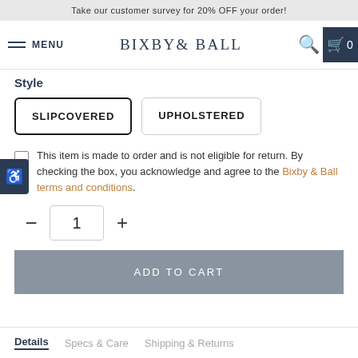Take our customer survey for 20% OFF your order!
[Figure (screenshot): Navigation bar with hamburger menu, MENU text, BIXBY & BALL logo, search icon, and cart icon with 0]
Style
SLIPCOVERED | UPHOLSTERED (style option buttons)
This item is made to order and is not eligible for return. By checking the box, you acknowledge and agree to the Bixby & Ball terms and conditions.
Quantity: 1
ADD TO CART
Details  Specs & Care  Shipping & Returns